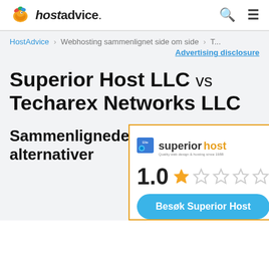hostadvice.
HostAdvice > Webhosting sammenlignet side om side > T...
Advertising disclosure
Superior Host LLC vs Techarex Networks LLC
Sammenlignede alternativer
[Figure (logo): Superior Host logo with Elite badge and tagline 'Quality web design & hosting since 1988']
1.0 (1 star out of 5)
Besøk Superior Host